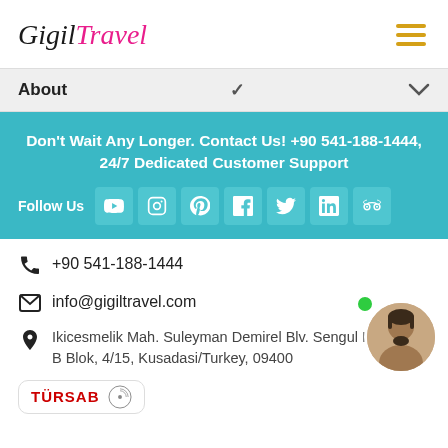[Figure (logo): Gigil Travel logo in cursive script, Gigil in black italic, Travel in pink italic]
About
Don't Wait Any Longer. Contact Us! +90 541-188-1444, 24/7 Dedicated Customer Support
Follow Us
+90 541-188-1444
info@gigiltravel.com
Ikicesmelik Mah. Suleyman Demirel Blv. Sengul Is B Blok, 4/15, Kusadasi/Turkey, 09400
[Figure (logo): TURSAB logo with red text and circular emblem]
[Figure (photo): Portrait photo of a smiling young man with beard, with green online status dot]